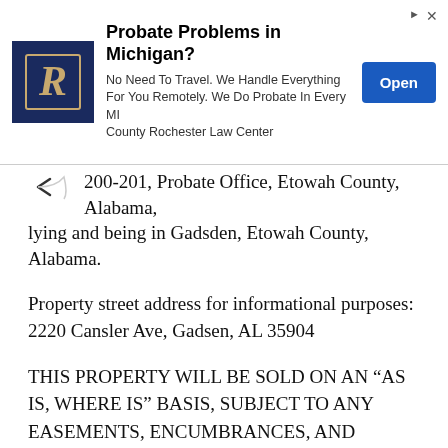[Figure (other): Advertisement banner for Rochester Law Center: 'Probate Problems in Michigan?' with logo, body text 'No Need To Travel. We Handle Everything For You Remotely. We Do Probate In Every MI County Rochester Law Center' and an 'Open' button.]
200-201, Probate Office, Etowah County, Alabama, lying and being in Gadsden, Etowah County, Alabama.
Property street address for informational purposes:  2220 Cansler Ave, Gadsen, AL 35904
THIS PROPERTY WILL BE SOLD ON AN “AS IS, WHERE IS” BASIS, SUBJECT TO ANY EASEMENTS, ENCUMBRANCES, AND EXCEPTIONS REFLECTED IN THE MORTGAGE AND THOSE CONTAINED IN THE RECORDS OF THE OFFICE OF THE JUDGE OF PROBATE OF THE COUNTY WHERE THE ABOVE-DESCRIBED PROPERTY IS